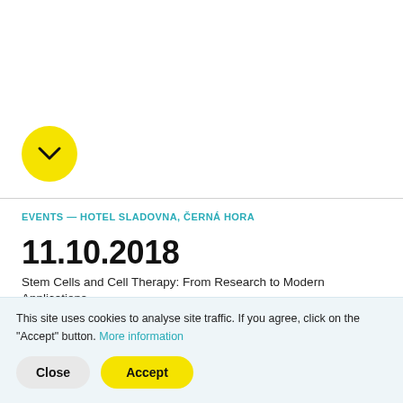[Figure (other): Yellow circular button with a downward chevron arrow icon]
EVENTS — HOTEL SLADOVNA, ČERNÁ HORA
11.10.2018
Stem Cells and Cell Therapy: From Research to Modern Applications
This site uses cookies to analyse site traffic. If you agree, click on the "Accept" button. More information